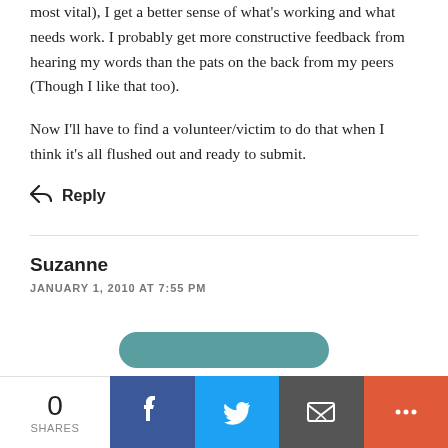most vital), I get a better sense of what's working and what needs work. I probably get more constructive feedback from hearing my words than the pats on the back from my peers (Though I like that too).
Now I'll have to find a volunteer/victim to do that when I think it's all flushed out and ready to submit.
↩ Reply
Suzanne
JANUARY 1, 2010 AT 7:55 PM
[Figure (other): Social share bar at bottom with Facebook, Twitter, email, and more buttons. Shows 0 shares.]